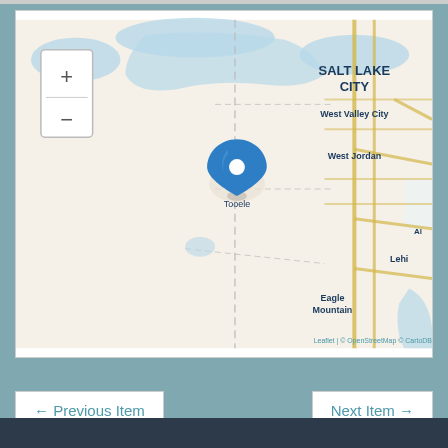[Figure (map): Leaflet/OpenStreetMap map centered on Tooele, Utah with a blue location pin marker. Shows Salt Lake City area including West Valley City, West Jordan, Lehi, Eagle Mountain, and Alpine. Map has zoom +/- controls in upper left. Attribution reads: Leaflet | © OpenStreetMap © CartoDB]
← Previous Item
Next Item →